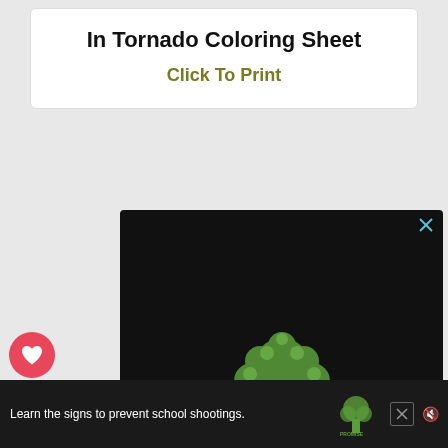In Tornado Coloring Sheet
Click To Print
[Figure (logo): Sandy Hook Promise logo with tree made of handprints and tagline 'Learn the signs at SandyHookPromise.org']
[Figure (logo): Sandy Hook Promise bottom banner ad with text 'Learn the signs to prevent school shootings.']